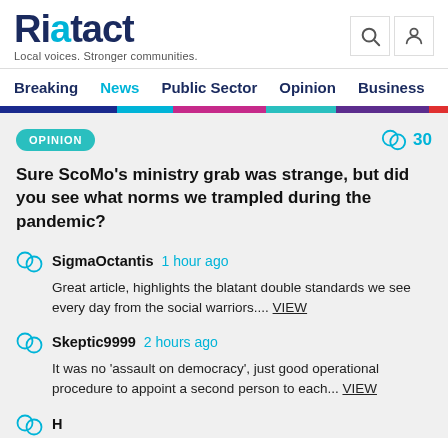Riotact — Local voices. Stronger communities.
Breaking | News | Public Sector | Opinion | Business
OPINION  30
Sure ScoMo's ministry grab was strange, but did you see what norms we trampled during the pandemic?
SigmaOctantis  1 hour ago
Great article, highlights the blatant double standards we see every day from the social warriors.... VIEW
Skeptic9999  2 hours ago
It was no 'assault on democracy', just good operational procedure to appoint a second person to each... VIEW
Harriet... 3h...